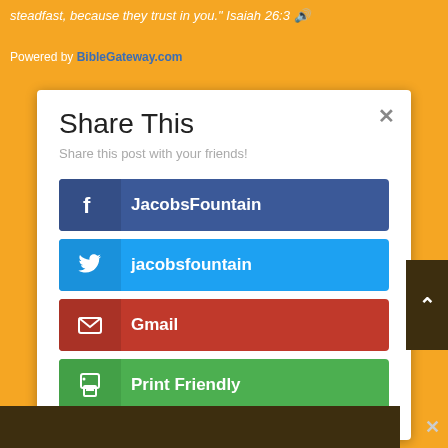steadfast, because they trust in you." - Isaiah 26:3 🔊
Powered by BibleGateway.com
Share This
Share this post with your friends!
JacobsFountain (Facebook)
jacobsfountain (Twitter)
Gmail
Print Friendly
Like